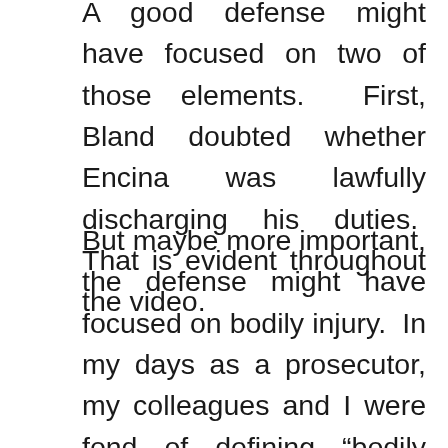A good defense might have focused on two of those elements. First, Bland doubted whether Encina was lawfully discharging his duties. That is evident throughout the video.
But maybe more important, the defense might have focused on bodily injury. In my days as a prosecutor, my colleagues and I were fond of defining “bodily injury” to a jury by saying, “ouch is enough.” In other words, the term (defined in Section 1.07(a)(8) of the Texas Penal Code) means, “physical pain . . . ” But in direct contradiction to any claim of physical